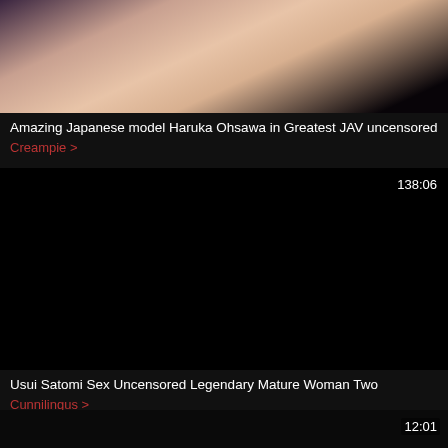[Figure (screenshot): Video thumbnail showing partial image of a person, top portion of a video card]
Amazing Japanese model Haruka Ohsawa in Greatest JAV uncensored
Creampie >
[Figure (screenshot): Black video thumbnail with duration 138:06]
Usui Satomi Sex Uncensored Legendary Mature Woman Two
Cunnilingus >
[Figure (screenshot): Dark video thumbnail with duration 12:01]